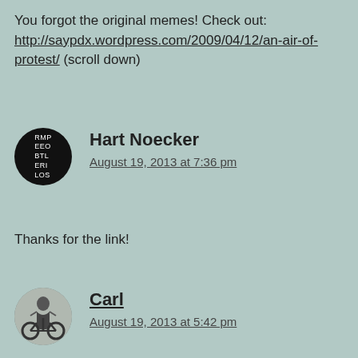You forgot the original memes! Check out: http://saypdx.wordpress.com/2009/04/12/an-air-of-protest/ (scroll down)
Hart Noecker
August 19, 2013 at 7:36 pm
Thanks for the link!
Carl
August 19, 2013 at 5:42 pm